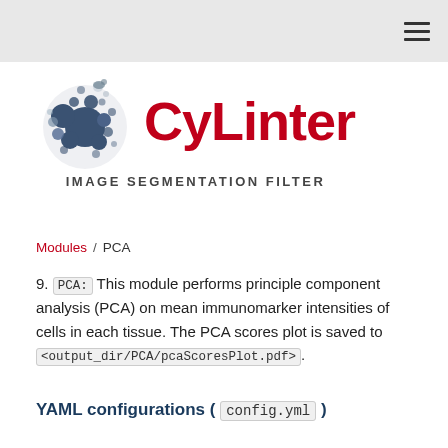[Figure (logo): CyLinter logo: circular cluster of dark blue dots/circles on left, bold red CyLinter text on right, subtitle IMAGE SEGMENTATION FILTER below]
Modules / PCA
9. PCA: This module performs principle component analysis (PCA) on mean immunomarker intensities of cells in each tissue. The PCA scores plot is saved to <output_dir/PCA/pcaScoresPlot.pdf>.
YAML configurations ( config.yml )